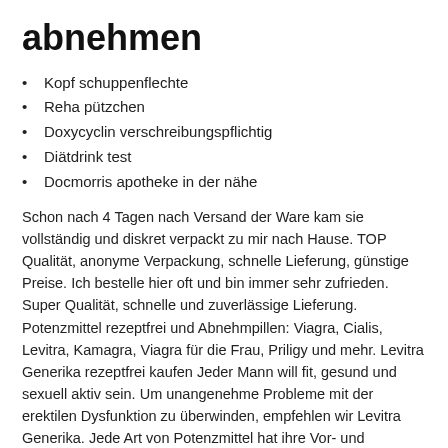abnehmen
Kopf schuppenflechte
Reha pützchen
Doxycyclin verschreibungspflichtig
Diätdrink test
Docmorris apotheke in der nähe
Schon nach 4 Tagen nach Versand der Ware kam sie vollständig und diskret verpackt zu mir nach Hause. TOP Qualität, anonyme Verpackung, schnelle Lieferung, günstige Preise. Ich bestelle hier oft und bin immer sehr zufrieden. Super Qualität, schnelle und zuverlässige Lieferung. Potenzmittel rezeptfrei und Abnehmpillen: Viagra, Cialis, Levitra, Kamagra, Viagra für die Frau, Priligy und mehr. Levitra Generika rezeptfrei kaufen Jeder Mann will fit, gesund und sexuell aktiv sein. Um unangenehme Probleme mit der erektilen Dysfunktion zu überwinden, empfehlen wir Levitra Generika. Jede Art von Potenzmittel hat ihre Vor- und Nachteile, da ist auch Levitra Generika ist keine Ausnahme. Doch die geringen Nebenwirkungen und die deutsche Qualität der Tabletten machen Levitra zu einem Produkt das immer mehr deutsche Männer bevorzugen.